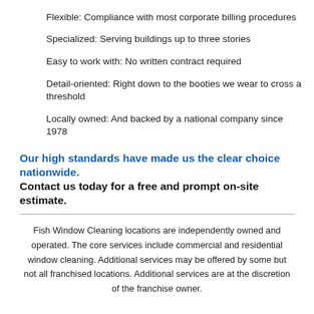Flexible: Compliance with most corporate billing procedures
Specialized: Serving buildings up to three stories
Easy to work with: No written contract required
Detail-oriented: Right down to the booties we wear to cross a threshold
Locally owned: And backed by a national company since 1978
Our high standards have made us the clear choice nationwide. Contact us today for a free and prompt on-site estimate.
Fish Window Cleaning locations are independently owned and operated. The core services include commercial and residential window cleaning. Additional services may be offered by some but not all franchised locations. Additional services are at the discretion of the franchise owner.